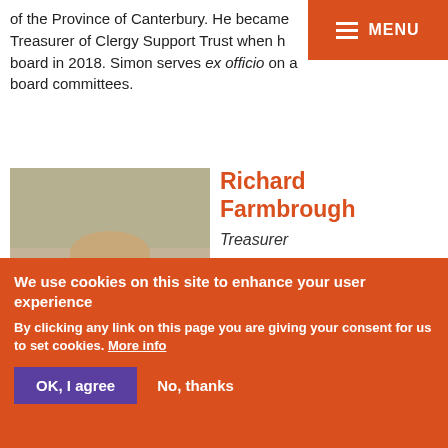of the Province of Canterbury. He became Treasurer of Clergy Support Trust when h board in 2018. Simon serves ex officio on a board committees.
[Figure (photo): Headshot of Richard Farmbrough, a man in a brown blazer and dark tie, with light background of foliage]
Richard Farmbrough
Treasurer
Richard Farmbrough is an award-winning television producer who has made
We use cookies on this site to enhance your user experience
By clicking any link on this page you are giving your consent for us to set cookies. More info
OK, I agree
No, thanks